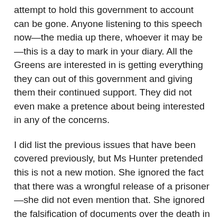attempt to hold this government to account can be gone. Anyone listening to this speech now—the media up there, whoever it may be—this is a day to mark in your diary. All the Greens are interested in is getting everything they can out of this government and giving them their continued support. They did not even make a pretence about being interested in any of the concerns.
I did list the previous issues that have been covered previously, but Ms Hunter pretended this is not a new motion. She ignored the fact that there was a wrongful release of a prisoner—she did not even mention that. She ignored the falsification of documents over the death in custody; the allegations of rape and abuse; the fact that the judiciary is now warning the government that continuation will lead to an effect on sentencing decisions; the lockdown of prisoners; the fact that there are staff problems—the union is concerned and the staff are concerned to the